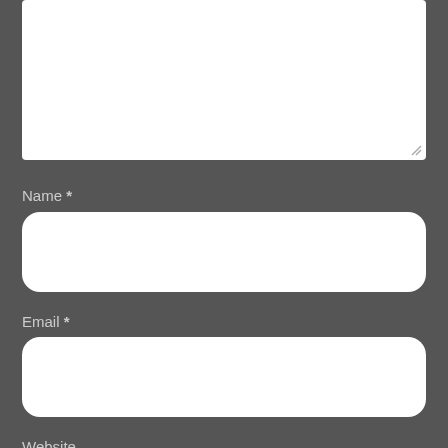[Figure (screenshot): A web form section on a dark grey background showing a textarea at the top (partially visible), followed by three form fields: Name (required), Email (required), and Website, each with a white rounded input box.]
Name *
Email *
Website